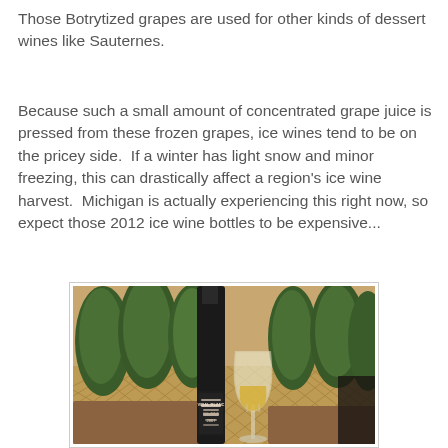Those Botrytized grapes are used for other kinds of dessert wines like Sauternes.
Because such a small amount of concentrated grape juice is pressed from these frozen grapes, ice wines tend to be on the pricey side.  If a winter has light snow and minor freezing, this can drastically affect a region's ice wine harvest.  Michigan is actually experiencing this right now, so expect those 2012 ice wine bottles to be expensive...
[Figure (photo): A wine bottle with a dark label reading 'Vidal Blanc' and a wine glass with white/golden wine, set in front of potted evergreen shrubs and a decorative lattice background.]